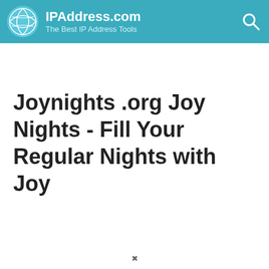IPAddress.com — The Best IP Address Tools
Joynights .org Joy Nights - Fill Your Regular Nights with Joy